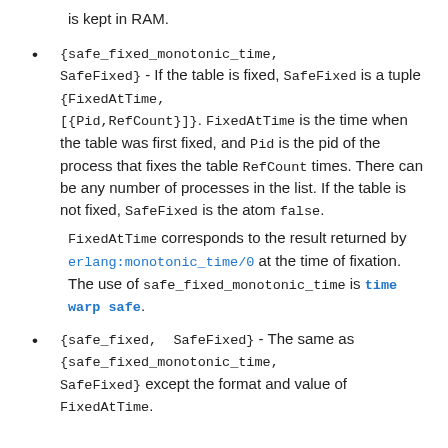is kept in RAM.
{safe_fixed_monotonic_time, SafeFixed} - If the table is fixed, SafeFixed is a tuple {FixedAtTime, [{Pid,RefCount}]}. FixedAtTime is the time when the table was first fixed, and Pid is the pid of the process that fixes the table RefCount times. There can be any number of processes in the list. If the table is not fixed, SafeFixed is the atom false.
FixedAtTime corresponds to the result returned by erlang:monotonic_time/0 at the time of fixation. The use of safe_fixed_monotonic_time is time warp safe.
{safe_fixed, SafeFixed} - The same as {safe_fixed_monotonic_time, SafeFixed} except the format and value of FixedAtTime.